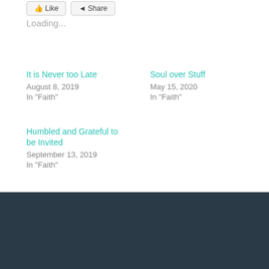Loading...
It is Never too Late
August 8, 2019
In "Faith"
Soul over Stuff
May 15, 2020
In "Faith"
Humbled and Grateful to be Invited
September 13, 2019
In "Faith"
Published by Manu
View all posts by